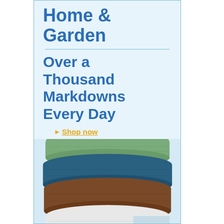Home & Garden
Over a Thousand Markdowns Every Day
▶ Shop now
[Figure (photo): Stacked folded towels/blankets in green, teal/blue, brown, white, and light blue colors]